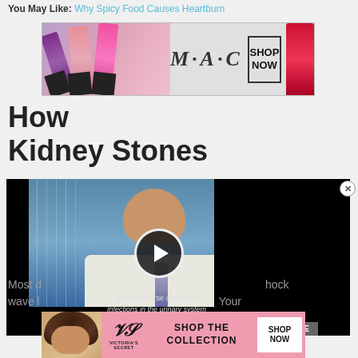You May Like: Why Spicy Food Causes Heartburn
[Figure (photo): MAC Cosmetics advertisement banner showing lipsticks in purple, pink, and red colors with MAC logo and SHOP NOW button]
How to ... Kidney Stones
[Figure (screenshot): Video player showing a doctor (Doctor Batarse) discussing infections in the urinary system, with a black overlay and play button. Subtitle reads: Doctor Batarse discusses Infections in the urinary system]
Most d... hock wave l... Your
[Figure (photo): Victoria's Secret advertisement banner showing a model with SHOP THE COLLECTION text and SHOP NOW button]